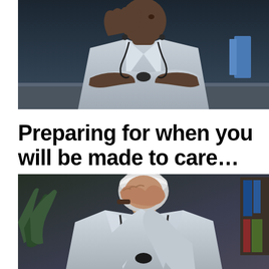[Figure (photo): A dark-skinned doctor wearing a white lab coat with a stethoscope around their neck, sitting at a desk with arms crossed and one hand raised, appearing stern or lecturing. Dark blue-toned office background.]
Preparing for when you will be made to care…
[Figure (photo): An older white-haired doctor in a white lab coat with a stethoscope, sitting with head bowed and hand covering their face in a gesture of distress or exhaustion. Dark-toned office background with bookshelf visible.]